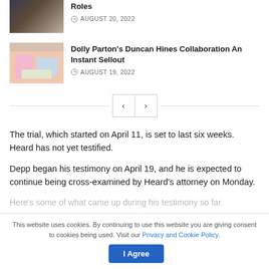[Figure (photo): Partial view of an article thumbnail showing two people in formal attire]
Roles
AUGUST 20, 2022
[Figure (photo): Dolly Parton in a kitchen with baking items, wearing pink]
Dolly Parton's Duncan Hines Collaboration An Instant Sellout
AUGUST 19, 2022
The trial, which started on April 11, is set to last six weeks. Heard has not yet testified.
Depp began his testimony on April 19, and he is expected to continue being cross-examined by Heard's attorney on Monday.
Here's some of what came up during his testimony so far.
This website uses cookies. By continuing to use this website you are giving consent to cookies being used. Visit our Privacy and Cookie Policy.